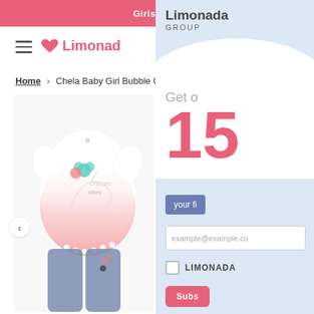Girls
[Figure (logo): Limonada brand logo with heart icon and pink text]
Home › Chela Baby Girl Bubble Gum Set L
[Figure (photo): Baby girl clothing set: white top with unicorn 'Unicorn Vibes' print and pink ombre gradient, with teal and pink flower applique and pom-pom trim hem, paired with denim blue leggings]
[Figure (infographic): Limonada GROUP popup overlay with light blue background, cloud shape, 15% discount offer, email subscription form, LIMONADA checkbox, and Subscribe button]